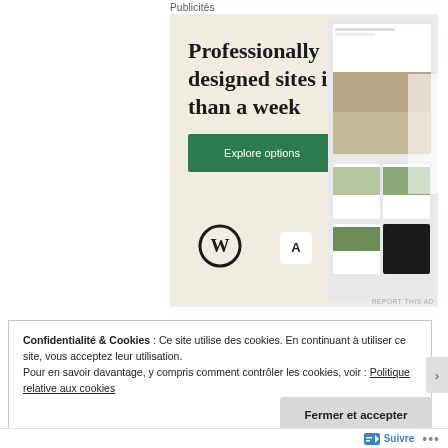Publicités
[Figure (screenshot): WordPress advertisement: 'Professionally designed sites in less than a week' with an 'Explore options' green button, WordPress logo, and website screenshots on a beige/cream background. 'REPORT THIS AD' text at bottom right.]
REPORT THIS AD
Confidentialité & Cookies : Ce site utilise des cookies. En continuant à utiliser ce site, vous acceptez leur utilisation.
Pour en savoir davantage, y compris comment contrôler les cookies, voir : Politique relative aux cookies
Fermer et accepter
Suivre